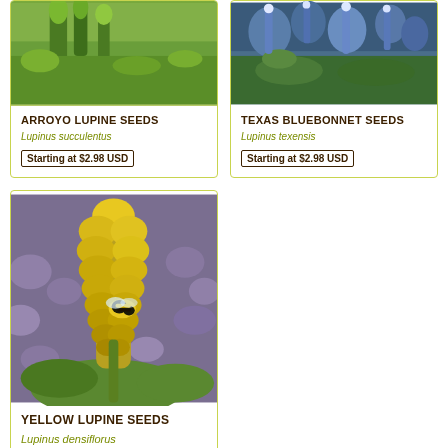[Figure (photo): Photo of Arroyo Lupine plant flowers (cropped top, green/purple)]
ARROYO LUPINE SEEDS
Lupinus succulentus
Starting at $2.98 USD
[Figure (photo): Photo of Texas Bluebonnet flowers (blue/purple blooms)]
TEXAS BLUEBONNET SEEDS
Lupinus texensis
Starting at $2.98 USD
[Figure (photo): Photo of Yellow Lupine with bumblebee on yellow flower spike, purple flowers in background]
YELLOW LUPINE SEEDS
Lupinus densiflorus
Starting at $2.98 USD